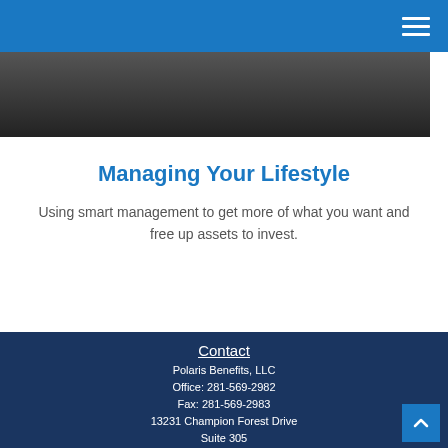Navigation header with hamburger menu icon
[Figure (photo): Dark photo strip, appears to be a person in background]
Managing Your Lifestyle
Using smart management to get more of what you want and free up assets to invest.
Contact
Polaris Benefits, LLC
Office: 281-569-2982
Fax: 281-569-2983
13231 Champion Forest Drive
Suite 305
Houston, TX 77069
peterv@polarisbenefitshou.com